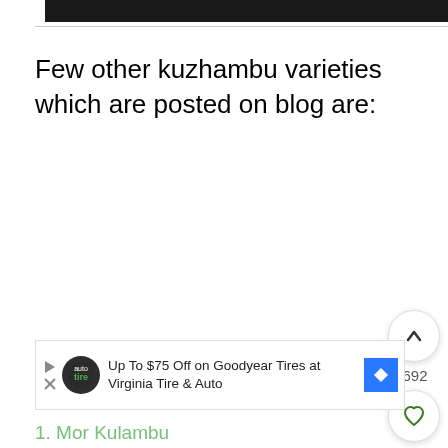[Figure (photo): Black banner image at top of page]
Few other kuzhambu varieties which are posted on blog are:
[Figure (infographic): Up chevron button (scroll to top), count 692, heart/like button, and green search button floating on right side]
[Figure (infographic): Advertisement banner: Up To $75 Off on Goodyear Tires at Virginia Tire & Auto, with play button, logo, and blue arrow icon]
1. Mo... Kulambu (partially visible, green text)